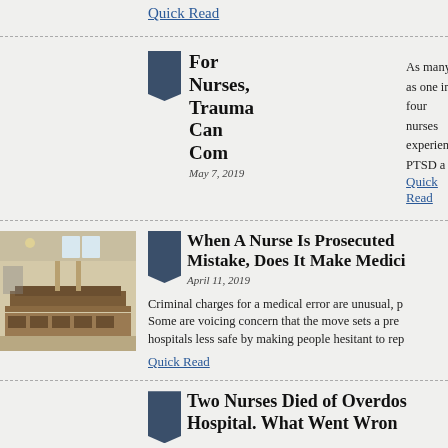Quick Read
For Nurses, Trauma Can Com
May 7, 2019
As many as one in four nurses experience PTSD a...
Quick Read
When A Nurse Is Prosecuted... Mistake, Does It Make Medici...
April 11, 2019
Criminal charges for a medical error are unusual, p... Some are voicing concern that the move sets a pre... hospitals less safe by making people hesitant to rep...
Quick Read
Two Nurses Died of Overdos... Hospital. What Went Wron...